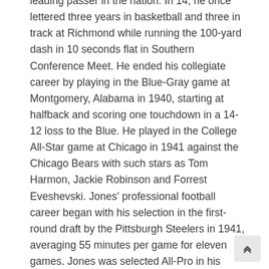leading passer in the nation. In 14, he once lettered three years in basketball and three in track at Richmond while running the 100-yard dash in 10 seconds flat in Southern Conference Meet. He ended his collegiate career by playing in the Blue-Gray game at Montgomery, Alabama in 1940, starting at halfback and scoring one touchdown in a 14-12 loss to the Blue. He played in the College All-Star game at Chicago in 1941 against the Chicago Bears with such stars as Tom Harmon, Jackie Robinson and Forrest Eveshevski. Jones' professional football career began with his selection in the first-round draft by the Pittsburgh Steelers in 1941, averaging 55 minutes per game for eleven games. Jones was selected All-Pro in his rookie year and was chosen to play in the All-Pro game in 1941 against the Chicago Bears. He started this game in the backfield composed of Sammy Baugh, Toughy Lemmons and